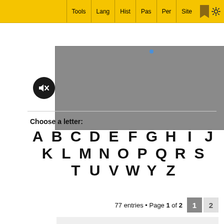Tools | Lang | Hist | Pas | Per | Site
[Figure (screenshot): Gray media/video player area with mute button (speaker with line through it) icon]
Choose a letter:
A B C D E F G H I J K L M N O P Q R S T U V W X Y Z
77 entries • Page 1 of 2  [1] [2]
Ka
Ka